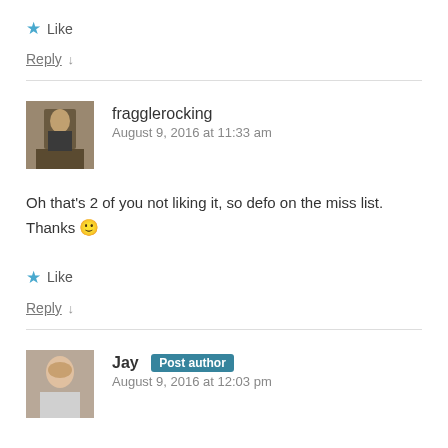★ Like
Reply ↓
fragglerocking
August 9, 2016 at 11:33 am
Oh that's 2 of you not liking it, so defo on the miss list. Thanks 🙂
★ Like
Reply ↓
Jay [Post author]
August 9, 2016 at 12:03 pm